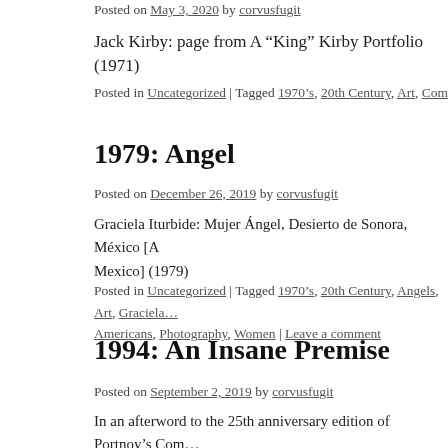Posted on May 3, 2020 by corvusfugit
Jack Kirby: page from A “King” Kirby Portfolio (1971)
Posted in Uncategorized | Tagged 1970’s, 20th Century, Art, Comics, Jack Ki…
1979: Angel
Posted on December 26, 2019 by corvusfugit
Graciela Iturbide: Mujer Ángel, Desierto de Sonora, México [A Mexico] (1979)
Posted in Uncategorized | Tagged 1970’s, 20th Century, Angels, Art, Graciela… Americans, Photography, Women | Leave a comment
1994: An Insane Premise
Posted on September 2, 2019 by corvusfugit
In an afterword to the 25th anniversary edition of Portnoy’s Com… about the first lines of his novels. When he was living in Chicag…